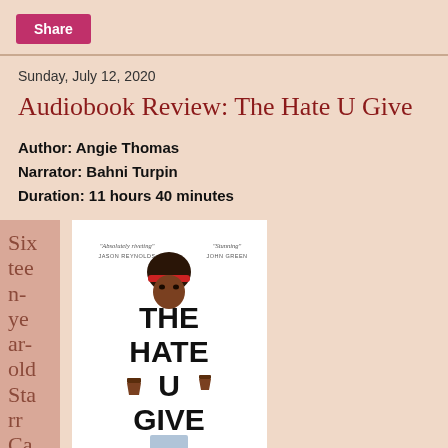Share
Sunday, July 12, 2020
Audiobook Review: The Hate U Give
Author: Angie Thomas
Narrator: Bahni Turpin
Duration: 11 hours 40 minutes
[Figure (illustration): Book cover of The Hate U Give by Angie Thomas. White background with an illustration of a Black teenage girl holding a beverage, with text 'THE HATE U GIVE'. Blurbs: 'Absolutely riveting' Jason Reynolds, 'Stunning' John Green.]
Sixteen-year-old Starr Ca